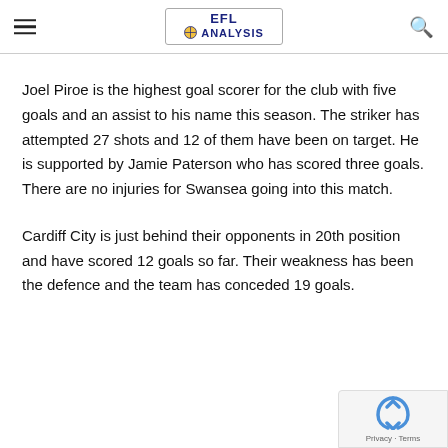EFL ANALYSIS
Joel Piroe is the highest goal scorer for the club with five goals and an assist to his name this season. The striker has attempted 27 shots and 12 of them have been on target. He is supported by Jamie Paterson who has scored three goals. There are no injuries for Swansea going into this match.
Cardiff City is just behind their opponents in 20th position and have scored 12 goals so far. Their weakness has been the defence and the team has conceded 19 goals.